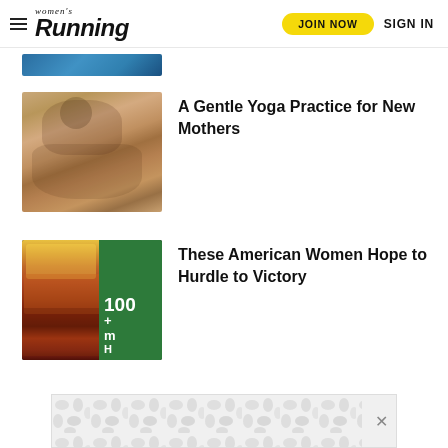Women's Running | JOIN NOW | SIGN IN
[Figure (photo): Partial cropped image at top of page, appears to be a blue athletic track or swimming pool]
[Figure (photo): Woman practicing yoga, seated forward bend pose outdoors on a textured surface, wearing an orange top]
A Gentle Yoga Practice for New Mothers
[Figure (photo): Composite image of American women hurdlers racing on a track, with a green background overlay showing '100+' text]
These American Women Hope to Hurdle to Victory
[Figure (other): Advertisement banner with decorative circular pattern background and a close (X) button]